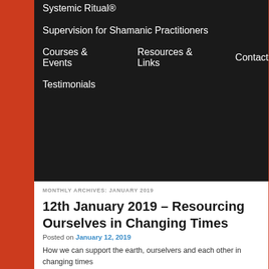Systemic Ritual®
Supervision for Shamanic Practitioners
Courses & Events
Resources & Links
Contact
Testimonials
MONTHLY ARCHIVES: JANUARY 2019
12th January 2019 – Resourcing Ourselves in Changing Times
Posted on January 12, 2019
How we can support the earth, ourselvers and each other in changing times
Run by Shenoah and David